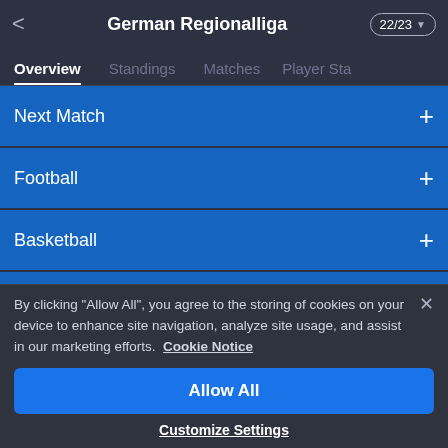< German Regionalliga 22/23
Overview
Standings
Matches
Player Sta
Next Match +
Football +
Basketball +
Visit localized Football live score version of AiScore +
By clicking "Allow All", you agree to the storing of cookies on your device to enhance site navigation, analyze site usage, and assist in our marketing efforts.  Cookie Notice
Allow All
Customize Settings